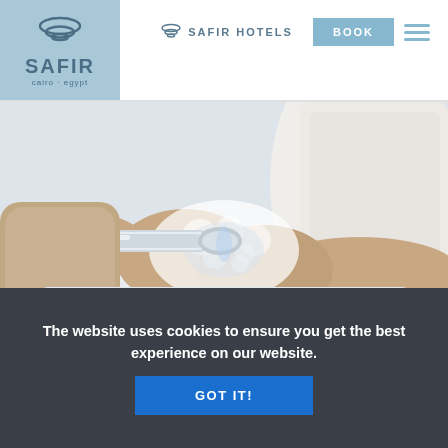[Figure (logo): Safir Hotels logo with spiral wave icon in blue, text SAFIR in blue, subtitle cairo · egypt on blue background square]
SAFIR HOTELS  BOOK
[Figure (photo): Person in white waffle robe washing hands under chrome faucet with soap suds, overhead/top-down view]
The website uses cookies to ensure you get the best experience on our website.
GOT IT!